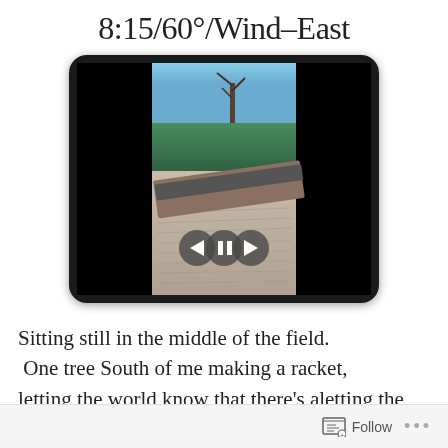8:15/60°/Wind–East
[Figure (photo): Photo of an open notebook with a pen resting on it, displayed on a tablet screen with playback controls (back, pause, forward). Background shows trees and sky. The tablet has a dark bezel with black side bars.]
Sitting still in the middle of the field. One tree South of me making a racket, letting the world know that there's a
Follow ...